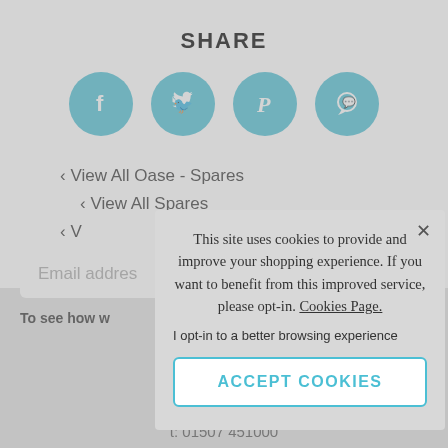SHARE
[Figure (illustration): Four social media sharing buttons as teal circular icons: Facebook (f), Twitter (bird), Pinterest (P), WhatsApp (speech bubble)]
‹ View All Oase - Spares
‹ View All Spares
‹ V…
Email addres…
To see how w…
t: 01507 451000
This site uses cookies to provide and improve your shopping experience. If you want to benefit from this improved service, please opt-in. Cookies Page.
I opt-in to a better browsing experience
ACCEPT COOKIES